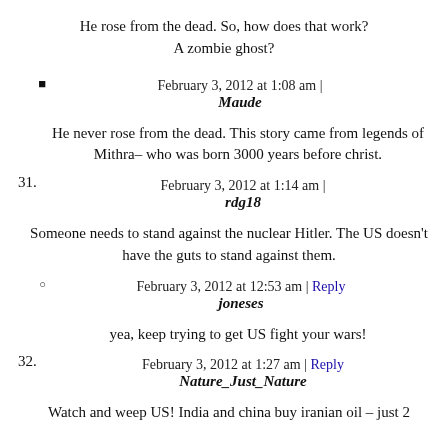He rose from the dead. So, how does that work? A zombie ghost?
February 3, 2012 at 1:08 am | Maude
He never rose from the dead. This story came from legends of Mithra– who was born 3000 years before christ.
February 3, 2012 at 1:14 am | rdg18
31. Someone needs to stand against the nuclear Hitler. The US doesn't have the guts to stand against them.
February 3, 2012 at 12:53 am | Reply joneses
yea, keep trying to get US fight your wars!
February 3, 2012 at 1:27 am | Reply Nature_Just_Nature
32. Watch and weep US! India and china buy iranian oil – just 2